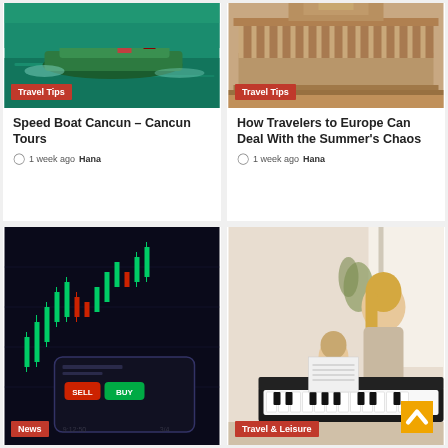[Figure (photo): Speed boat on turquoise water with people]
Travel Tips
Speed Boat Cancun – Cancun Tours
1 week ago  Hana
[Figure (photo): Ancient stone temple building with columns]
Travel Tips
How Travelers to Europe Can Deal With the Summer's Chaos
1 week ago  Hana
[Figure (photo): Dark stock trading chart on phone screen]
News
[Figure (photo): Blonde woman with child at piano]
Travel & Leisure